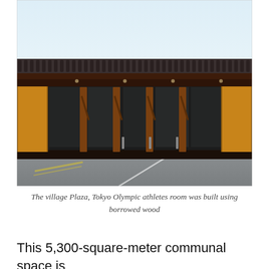[Figure (photo): Exterior photograph of the Village Plaza at the Tokyo Olympics — a wide, low traditional Japanese-style wooden building with a tiled roof, large wooden columns, glass facades, and an open forecourt/parking area in the foreground. The sky is pale and hazy.]
The village Plaza, Tokyo Olympic athletes room was built using borrowed wood
This 5,300-square-meter communal space is constructed of cypress, cedar and larch wood